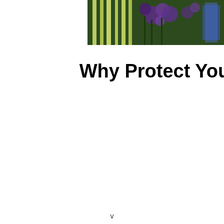[Figure (photo): A banner/header image showing vegetables in an allotment garden — leeks/onions on the left half with purple flowers, and a green cabbage on the right half. Text overlay reads 'in Your Allotment Garden'.]
Why Protect Your Plants with Insect Mesh?